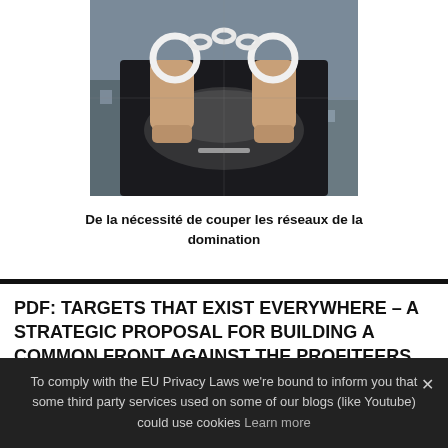[Figure (photo): Photo of a person with handcuffs on their wrists, hands raised, smoke or dust visible, dark dramatic urban background]
De la nécessité de couper les réseaux de la domination
PDF: TARGETS THAT EXIST EVERYWHERE – A STRATEGIC PROPOSAL FOR BUILDING A COMMON FRONT AGAINST THE PROFITEERS OF WAR AND REPRESSION
To comply with the EU Privacy Laws we're bound to inform you that some third party services used on some of our blogs (like Youtube) could use cookies Learn more